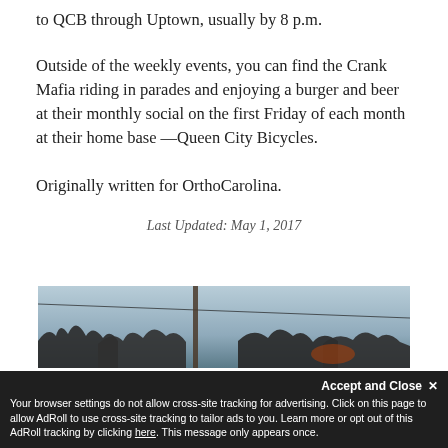to QCB through Uptown, usually by 8 p.m.
Outside of the weekly events, you can find the Crank Mafia riding in parades and enjoying a burger and beer at their monthly social on the first Friday of each month at their home base —Queen City Bicycles.
Originally written for OrthoCarolina.
Last Updated: May 1, 2017
[Figure (photo): Outdoor scene showing bare winter trees against a sky, with a utility pole and wires, appears to be a street-level photo.]
Accept and Close ✕
Your browser settings do not allow cross-site tracking for advertising. Click on this page to allow AdRoll to use cross-site tracking to tailor ads to you. Learn more or opt out of this AdRoll tracking by clicking here. This message only appears once.